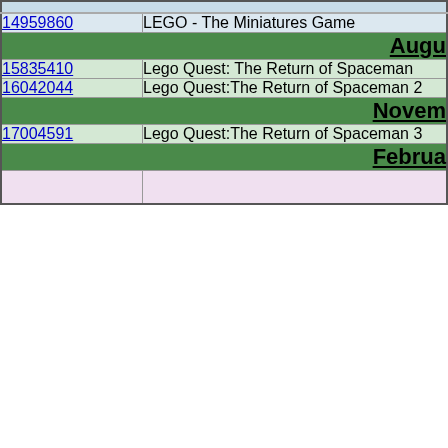| ID | Name |
| --- | --- |
| 14959860 | LEGO - The Miniatures Game |
| August |  |
| 15835410 | Lego Quest: The Return of Spaceman |
| 16042044 | Lego Quest:The Return of Spaceman 2 |
| November |  |
| 17004591 | Lego Quest:The Return of Spaceman 3 |
| February |  |
|  |  |